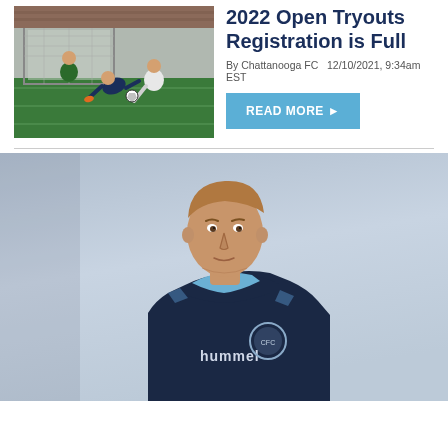[Figure (photo): Soccer action photo showing players on a green field with a goal in the background]
2022 Open Tryouts Registration is Full
By Chattanooga FC   12/10/2021, 9:34am EST
READ MORE ▶
[Figure (photo): Soccer player portrait wearing dark navy hummel jersey with light blue accents and club badge]